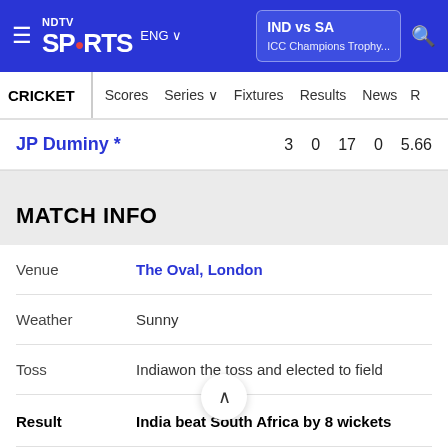NDTV Sports ENG | IND vs SA ICC Champions Trophy...
CRICKET | Scores | Series | Fixtures | Results | News
JP Duminy *   3   0   17   0   5.66
MATCH INFO
|  |  |
| --- | --- |
| Venue | The Oval, London |
| Weather | Sunny |
| Toss | Indiawon the toss and elected to field |
| Result | India beat South Africa by 8 wickets |
| Player of the Match | Jasprit Bumrah |